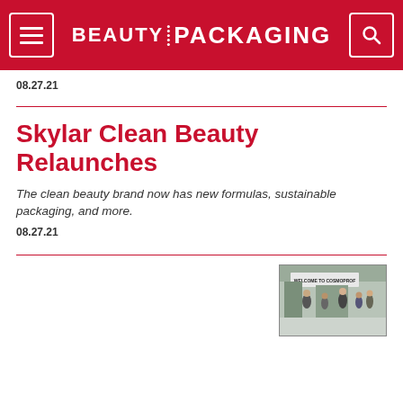BEAUTY PACKAGING
08.27.21
Skylar Clean Beauty Relaunches
The clean beauty brand now has new formulas, sustainable packaging, and more.
08.27.21
[Figure (photo): Welcome to Cosmoprof trade show booth photo with people in background]